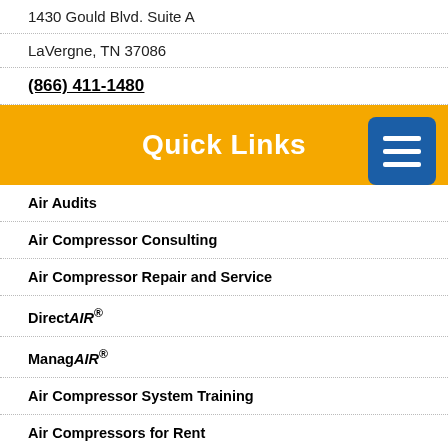1430 Gould Blvd. Suite A
LaVergne, TN 37086
(866) 411-1480
Quick Links
Air Audits
Air Compressor Consulting
Air Compressor Repair and Service
DirectAIR®
ManagAIR®
Air Compressor System Training
Air Compressors for Rent